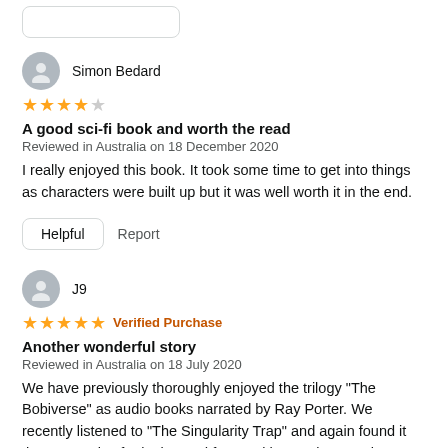[Figure (illustration): Partial rounded rectangle button at top of page (cropped from previous section)]
Simon Bedard
[Figure (illustration): 4 out of 5 stars rating]
A good sci-fi book and worth the read
Reviewed in Australia on 18 December 2020
I really enjoyed this book. It took some time to get into things as characters were built up but it was well worth it in the end.
Helpful   Report
J9
[Figure (illustration): 5 out of 5 stars rating with Verified Purchase label]
Another wonderful story
Reviewed in Australia on 18 July 2020
We have previously thoroughly enjoyed the trilogy "The Bobiverse" as audio books narrated by Ray Porter. We recently listened to "The Singularity Trap" and again found it the same mix of gripping and funny with Dennis E. Taylor's unique style and believable characters. Once    See more